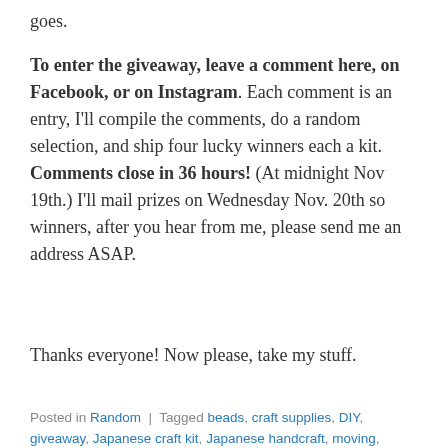goes.
To enter the giveaway, leave a comment here, on Facebook, or on Instagram. Each comment is an entry, I'll compile the comments, do a random selection, and ship four lucky winners each a kit. Comments close in 36 hours! (At midnight Nov 19th.) I'll mail prizes on Wednesday Nov. 20th so winners, after you hear from me, please send me an address ASAP.
Thanks everyone! Now please, take my stuff.
Posted in Random | Tagged beads, craft supplies, DIY, giveaway, Japanese craft kit, Japanese handcraft, moving, Tokyo | 24 Comments